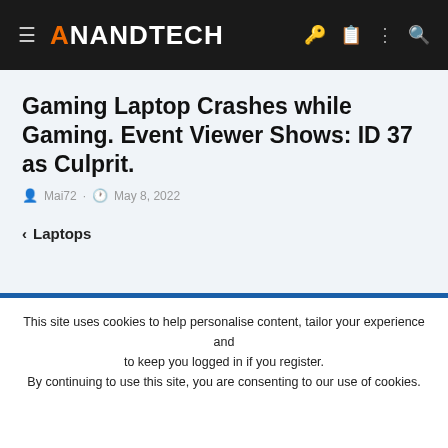AnandTech
Gaming Laptop Crashes while Gaming. Event Viewer Shows: ID 37 as Culprit.
Mai72 · May 8, 2022
< Laptops
This site uses cookies to help personalise content, tailor your experience and to keep you logged in if you register. By continuing to use this site, you are consenting to our use of cookies.